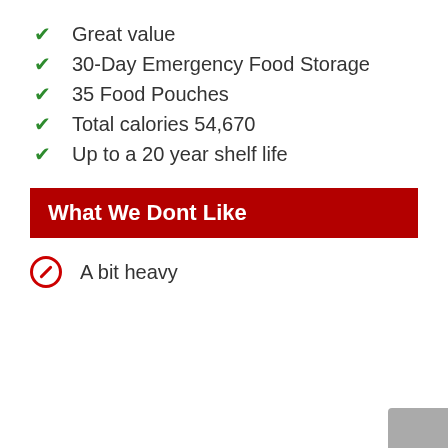Great value
30-Day Emergency Food Storage
35 Food Pouches
Total calories 54,670
Up to a 20 year shelf life
What We Dont Like
A bit heavy